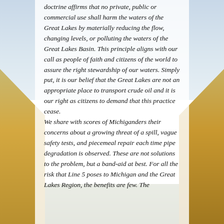doctrine affirms that no private, public or commercial use shall harm the waters of the Great Lakes by materially reducing the flow, changing levels, or polluting the waters of the Great Lakes Basin. This principle aligns with our call as people of faith and citizens of the world to assure the right stewardship of our waters. Simply put, it is our belief that the Great Lakes are not an appropriate place to transport crude oil and it is our right as citizens to demand that this practice cease.
We share with scores of Michiganders their concerns about a growing threat of a spill, vague safety tests, and piecemeal repair each time pipe degradation is observed. These are not solutions to the problem, but a band-aid at best. For all the risk that Line 5 poses to Michigan and the Great Lakes Region, the benefits are few. The